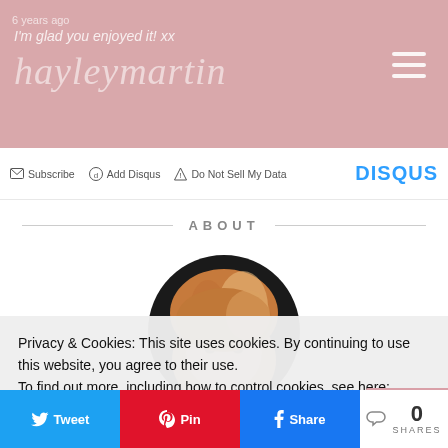[Figure (screenshot): Website header/banner with pink background, blog logo 'hayleymartin' in cursive script, a comment snippet 'I'm glad you enjoyed it! xx', and hamburger menu icon in top right]
Subscribe   Add Disqus   Do Not Sell My Data   DISQUS
ABOUT
[Figure (photo): Circular profile photo of a woman with blonde/auburn hair, partially cut off by cookie banner]
Privacy & Cookies: This site uses cookies. By continuing to use this website, you agree to their use.
To find out more, including how to control cookies, see here:
Tweet   Pin   Share   0 SHARES